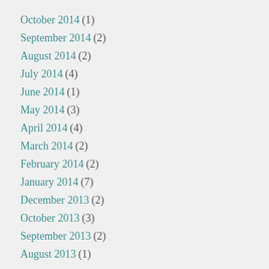October 2014 (1)
September 2014 (2)
August 2014 (2)
July 2014 (4)
June 2014 (1)
May 2014 (3)
April 2014 (4)
March 2014 (2)
February 2014 (2)
January 2014 (7)
December 2013 (2)
October 2013 (3)
September 2013 (2)
August 2013 (1)